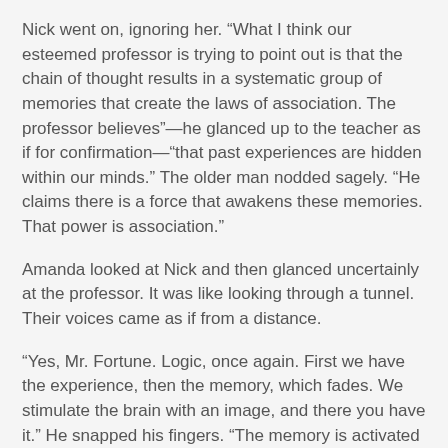Nick went on, ignoring her. “What I think our esteemed professor is trying to point out is that the chain of thought results in a systematic group of memories that create the laws of association. The professor believes”—he glanced up to the teacher as if for confirmation—“that past experiences are hidden within our minds.” The older man nodded sagely. “He claims there is a force that awakens these memories. That power is association.”
Amanda looked at Nick and then glanced uncertainly at the professor. It was like looking through a tunnel. Their voices came as if from a distance.
“Yes, Mr. Fortune. Logic, once again. First we have the experience, then the memory, which fades. We stimulate the brain with an image, and there you have it.” He snapped his fingers. “The memory is activated by the…” He bent down, peering at Amanda expectantly.
Nick whispered from the side of his mouth helpfully, “Association.”